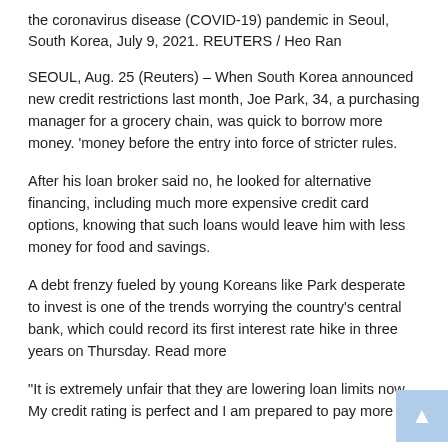the coronavirus disease (COVID-19) pandemic in Seoul, South Korea, July 9, 2021. REUTERS / Heo Ran
SEOUL, Aug. 25 (Reuters) – When South Korea announced new credit restrictions last month, Joe Park, 34, a purchasing manager for a grocery chain, was quick to borrow more money. ‘money before the entry into force of stricter rules.
After his loan broker said no, he looked for alternative financing, including much more expensive credit card options, knowing that such loans would leave him with less money for food and savings.
A debt frenzy fueled by young Koreans like Park desperate to invest is one of the trends worrying the country’s central bank, which could record its first interest rate hike in three years on Thursday. Read more
“It is extremely unfair that they are lowering loan limits now. My credit rating is perfect and I am prepared to pay more